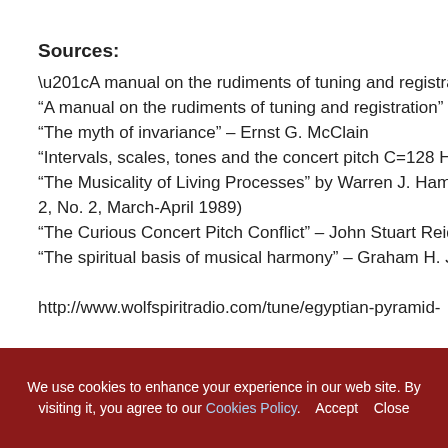Sources:
“A manual on the rudiments of tuning and registration”
“The myth of invariance” – Ernst G. McClain
“Intervals, scales, tones and the concert pitch C=128 Hz
“The Musicality of Living Processes” by Warren J. Hame… 2, No. 2, March-April 1989)
“The Curious Concert Pitch Conflict” – John Stuart Reid
“The spiritual basis of musical harmony” – Graham H. Ja…
http://www.wolfspiritradio.com/tune/egyptian-pyramid-
We use cookies to enhance your experience in our web site. By visiting it, you agree to our Cookies Policy.   Accept   Close